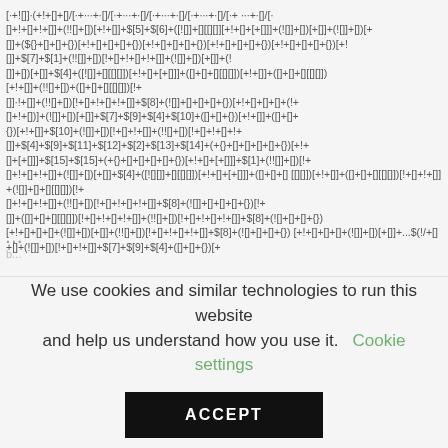[+!][]+(!+[]+[])+(!+[]+[]+[])+($[5]+$[6]+(![]]+[][]))[+!+[]+[+[]]]+(![]+[])[ +[]]+($[7]+$[1]+(!!+[]+[])[!+[]+!+[]+!+[]]+(![]]+[])[+[]]+$[4]+([![]]+[][[] ])[+!+[]+[+[]]]+([]+[]+[][[][]])[+!+[]]+({}+[]+[][[][]])[+!+[]]+({}+[] +[][[]]) ...  !+[]]+(!![]+[])[!+[]+!+[]+!+[]]+$[8]+(![]]+[]+[]+[]+{})[+!+[]+[]+[]+(!+ []+!+[])]+(![]]+[])[+[]]+$[7]+$[9]+$[4]+$[10]+([]+[]+{})[+!+[]]+([]+[]+ {})[+!+[]]+$[10]+(![]]+[])[!+[]+!+[]]+(!![]+[])[!+[]+!+[]+!+ []]+$[4]+$[9]+$[11]+$[12]+$[2]+$[13]+$[14]+(+{}+[]+[]+[]+[]+{})[+!+ []+[+[]]]+$[15]+$[15]+(+{}+[]+[]+[]+[]+{})[+!+[]+[+[]]]+$[1]+(!![]]+[])[!+ []+!+[]+!+[]]+(![]]+[])[+[]]+$[4]+(![][]]+[][[][]])[+!+[]+[+[]]]+([]+[]+[] [[][]])[+!+[]]+([]+[]+[][[][]])[!+[]+!+[]]+(![]]+[]+[][[][]])[!+ []+!+[]+!+[]]+(!![]+[])[!+[]+!+[]+!+[]]+$[8]+(![]]+[]+[]+[]+{}) [+!+[]+[]+[]+(![]]+[])[+[]]+$[7]+$[9]+$[4]+([]+[]+{})[...
We use cookies and similar technologies to run this website and help us understand how you use it.
Cookie settings
ACCEPT